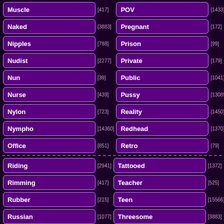Muscle [417]
POV [1433]
Naked [3883]
Pregnant [172]
Nipples [788]
Prison [99]
Nudist [2277]
Private [179]
Nun [39]
Public [1041]
Nurse [439]
Pussy [13085]
Nylon [723]
Reality [1450]
Nympho [14360]
Redhead [1370]
Office [851]
Retro [79]
Riding [2941]
Tattooed [1372]
Rimming [417]
Teacher [525]
Rubber [215]
Teen [15566]
Russian [1077]
Threesome [3883]